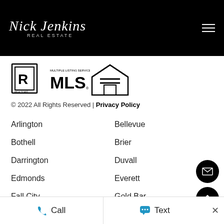Nick Jenkins Real Estate
[Figure (logo): REALTOR MLS Multiple Listing Service and Equal Housing Opportunity logos]
© 2022 All Rights Reserved | Privacy Policy
Arlington
Bellevue
Bothell
Brier
Darrington
Duvall
Edmonds
Everett
Fall City
Gold Bar
Granite Falls
Index
Call | Text ×